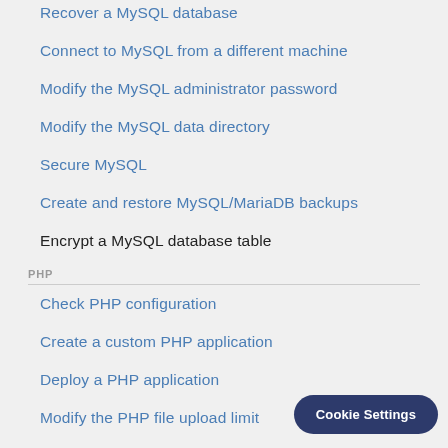Recover a MySQL database
Connect to MySQL from a different machine
Modify the MySQL administrator password
Modify the MySQL data directory
Secure MySQL
Create and restore MySQL/MariaDB backups
Encrypt a MySQL database table
PHP
Check PHP configuration
Create a custom PHP application
Deploy a PHP application
Modify the PHP file upload limit
Disable PHP-FPM
Enable PHP-FPM
PHPMYADMIN
Export a database with phpMy...